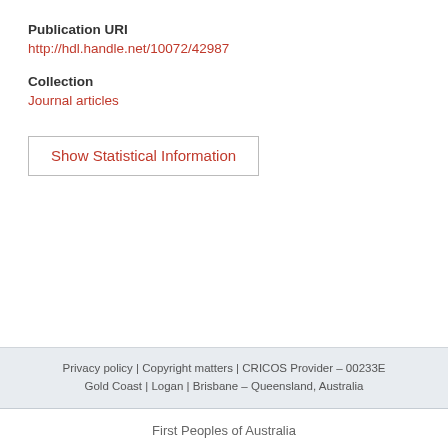Publication URI
http://hdl.handle.net/10072/42987
Collection
Journal articles
Show Statistical Information
Privacy policy | Copyright matters | CRICOS Provider – 00233E
Gold Coast | Logan | Brisbane – Queensland, Australia
First Peoples of Australia